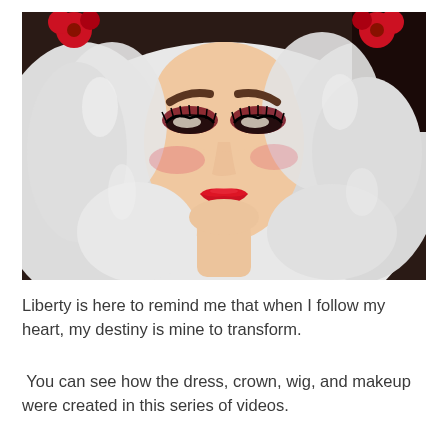[Figure (photo): Close-up portrait of a person with dramatic makeup: bold dark red and black eyeshadow, heavily lashed eyes, red lips, and bright white curly hair with red flowers on top. The look evokes a theatrical or cosplay character.]
Liberty is here to remind me that when I follow my heart, my destiny is mine to transform.
You can see how the dress, crown, wig, and makeup were created in this series of videos.